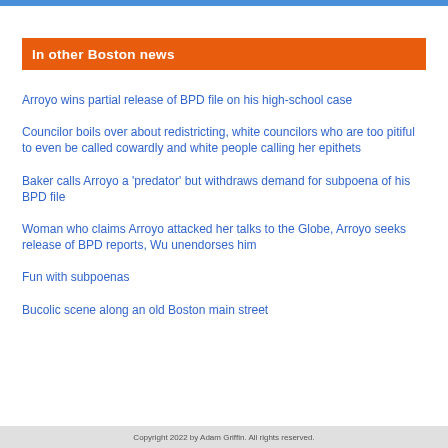In other Boston news
Arroyo wins partial release of BPD file on his high-school case
Councilor boils over about redistricting, white councilors who are too pitiful to even be called cowardly and white people calling her epithets
Baker calls Arroyo a 'predator' but withdraws demand for subpoena of his BPD file
Woman who claims Arroyo attacked her talks to the Globe, Arroyo seeks release of BPD reports, Wu unendorses him
Fun with subpoenas
Bucolic scene along an old Boston main street
Copyright 2022 by Adam Griffin. All rights reserved.